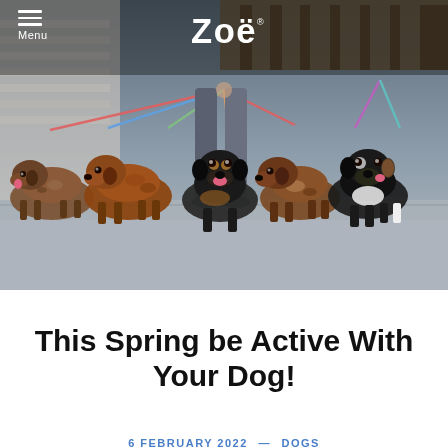Menu | Zoë
[Figure (photo): Six dachshund and small dogs on leashes standing in a row on pavement, with a person's legs visible behind them holding the leashes. Urban background with brick walls and wooden beams.]
This Spring be Active With Your Dog!
6 FEBRUARY 2022 — DOGS